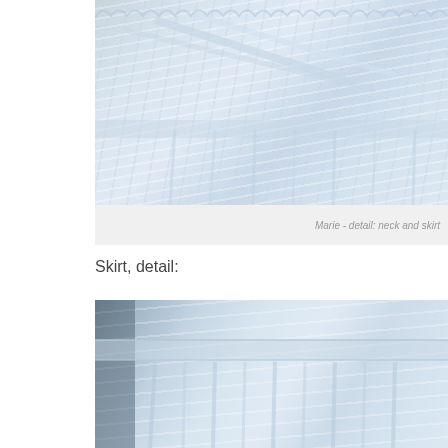[Figure (photo): Close-up detail of a white garment showing neck and skirt area with ruffled collar and fabric folds, painted or drawn in blue-grey tones]
Marie - detail: neck and skirt
Skirt, detail:
[Figure (photo): Close-up detail of a white skirt showing waistband and pleated/gathered fabric below, painted or drawn in blue-grey tones]